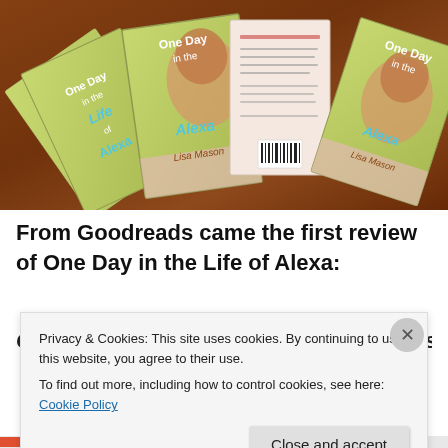[Figure (photo): Multiple copies of the book 'One Day in the Life of Alexa' by Lisa Mason fanned out on a wooden table surface. Books show front and back covers with a young girl's portrait and floral design.]
From Goodreads came the first review of One Day in the Life of Alexa:
One Day in the Life of Alexa by Lisa Mason (Part...
Privacy & Cookies: This site uses cookies. By continuing to use this website, you agree to their use.
To find out more, including how to control cookies, see here: Cookie Policy
Close and accept